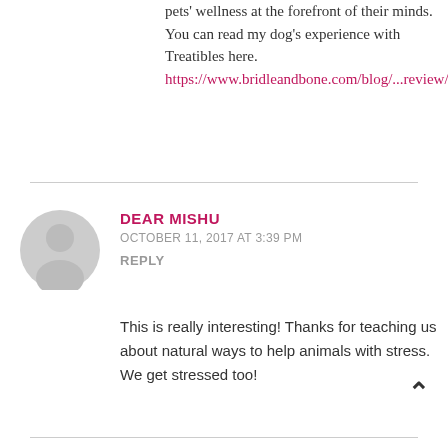pets' wellness at the forefront of their minds. You can read my dog's experience with Treatibles here. https://www.bridleandbone.com/blog/...review/
[Figure (illustration): Generic grey avatar icon of a person silhouette]
DEAR MISHU
OCTOBER 11, 2017 AT 3:39 PM
REPLY
This is really interesting! Thanks for teaching us about natural ways to help animals with stress. We get stressed too!